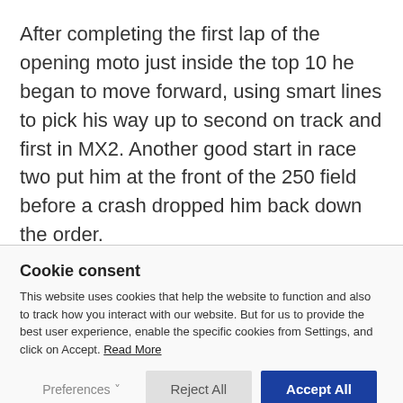After completing the first lap of the opening moto just inside the top 10 he began to move forward, using smart lines to pick his way up to second on track and first in MX2. Another good start in race two put him at the front of the 250 field before a crash dropped him back down the order.
Cookie consent
This website uses cookies that help the website to function and also to track how you interact with our website. But for us to provide the best user experience, enable the specific cookies from Settings, and click on Accept. Read More